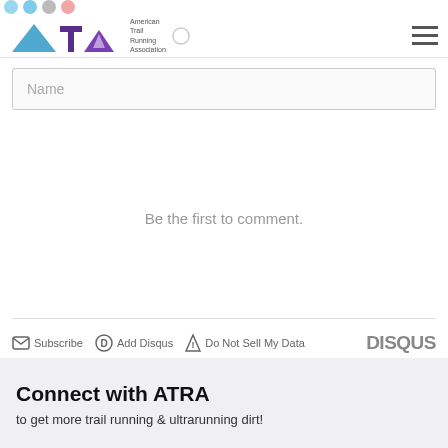[Figure (logo): ATRA (American Trail Running Association) logo with blue mountain/triangle and purple text]
Name
Be the first to comment.
Subscribe  Add Disqus  Do Not Sell My Data  DISQUS
Connect with ATRA
to get more trail running & ultrarunning dirt!